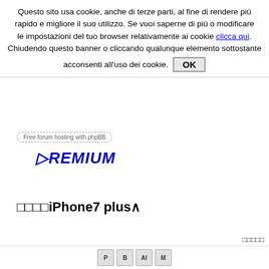Questo sito usa cookie, anche di terze parti, al fine di rendere più rapido e migliore il suo utilizzo. Se vuoi saperne di più o modificare le impostazioni del tuo browser relativamente ai cookie clicca qui. Chiudendo questo banner o cliccando qualunque elemento sottostante acconsenti all'uso dei cookie. OK
[Figure (logo): Free forum hosting with phpBB link, styled as dashed rounded rectangle]
[Figure (logo): PREMIUM logo in bold blue italic text]
□□□□iPhone7 plus∧
□□□□□
[Figure (other): Bottom navigation icons row]